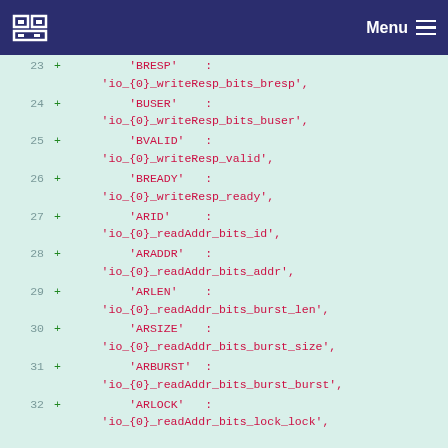Menu
23 + 'BRESP' : 'io_{0}_writeResp_bits_bresp',
24 + 'BUSER' : 'io_{0}_writeResp_bits_buser',
25 + 'BVALID' : 'io_{0}_writeResp_valid',
26 + 'BREADY' : 'io_{0}_writeResp_ready',
27 + 'ARID' : 'io_{0}_readAddr_bits_id',
28 + 'ARADDR' : 'io_{0}_readAddr_bits_addr',
29 + 'ARLEN' : 'io_{0}_readAddr_bits_burst_len',
30 + 'ARSIZE' : 'io_{0}_readAddr_bits_burst_size',
31 + 'ARBURST' : 'io_{0}_readAddr_bits_burst_burst',
32 + 'ARLOCK' : 'io_{0}_readAddr_bits_lock_lock',